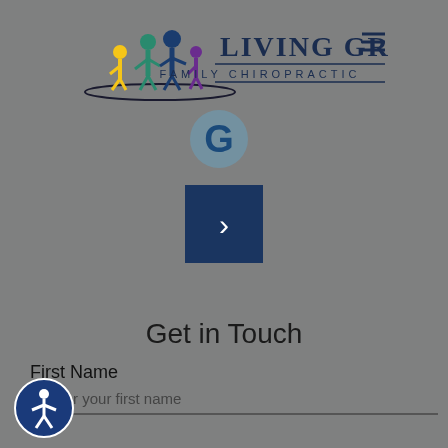[Figure (logo): Living Grace Family Chiropractic logo with family silhouette figures and text]
[Figure (logo): Google 'G' icon in teal/blue circle]
[Figure (other): Dark navy square button with right-pointing chevron arrow]
Get in Touch
First Name
Enter your first name
[Figure (other): Accessibility icon - person in circle with blue background]